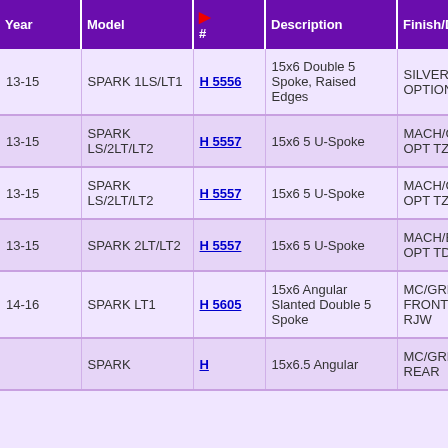| Year | Model | # | Description | Finish/Direction |
| --- | --- | --- | --- | --- |
| 13-15 | SPARK 1LS/LT1 | H 5556 | 15x6 Double 5 Spoke, Raised Edges | SILVER, OPTION RRK |
| 13-15 | SPARK LS/2LT/LT2 | H 5557 | 15x6 5 U-Spoke | MACH/CHARCOAL, OPT TZC |
| 13-15 | SPARK LS/2LT/LT2 | H 5557 | 15x6 5 U-Spoke | MACH/CHARCOAL, OPT TZC |
| 13-15 | SPARK 2LT/LT2 | H 5557 | 15x6 5 U-Spoke | MACH/BLACK, OPT TDZ |
| 14-16 | SPARK LT1 | H 5605 | 15x6 Angular Slanted Double 5 Spoke | MC/GREY FRONT OPT RJW |
|  | SPARK | H | 15x6.5 Angular | MC/GREY REAR |